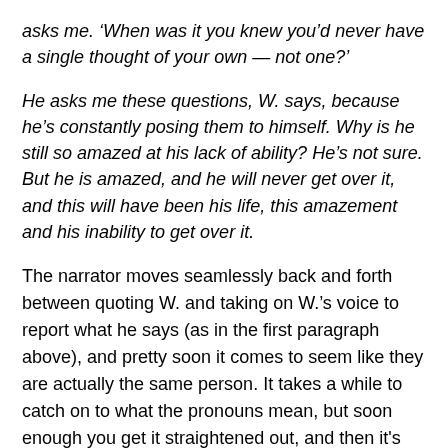asks me. ‘When was it you knew you’d never have a single thought of your own — not one?’
He asks me these questions, W. says, because he’s constantly posing them to himself. Why is he still so amazed at his lack of ability? He’s not sure. But he is amazed, and he will never get over it, and this will have been his life, this amazement and his inability to get over it.
The narrator moves seamlessly back and forth between quoting W. and taking on W.’s voice to report what he says (as in the first paragraph above), and pretty soon it comes to seem like they are actually the same person. It takes a while to catch on to what the pronouns mean, but soon enough you get it straightened out, and then it's like living in both the characters’ minds at once.